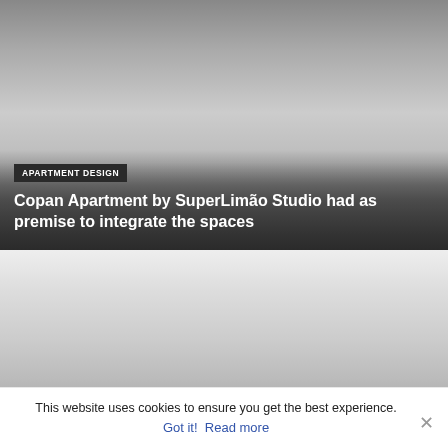[Figure (photo): Interior/apartment photo at top, partially cropped, dark background]
APARTMENT DESIGN
Copan Apartment by SuperLimão Studio had as premise to integrate the spaces
[Figure (photo): Second interior/home design photo, lighter tones, partially visible]
HOME DESIGN
This website uses cookies to ensure you get the best experience.
Got it!   Read more